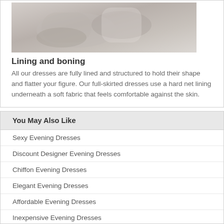[Figure (photo): Close-up photo of hands holding or working with light-colored fabric]
Lining and boning
All our dresses are fully lined and structured to hold their shape and flatter your figure. Our full-skirted dresses use a hard net lining underneath a soft fabric that feels comfortable against the skin.
You May Also Like
Sexy Evening Dresses
Discount Designer Evening Dresses
Chiffon Evening Dresses
Elegant Evening Dresses
Affordable Evening Dresses
Inexpensive Evening Dresses
One Shoulder Evening Dresses
Floor Length Evening Dresses